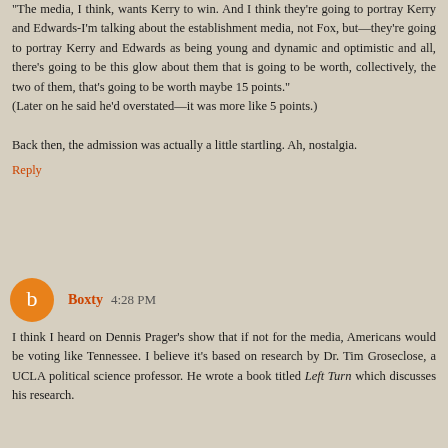"The media, I think, wants Kerry to win. And I think they're going to portray Kerry and Edwards-I'm talking about the establishment media, not Fox, but—they're going to portray Kerry and Edwards as being young and dynamic and optimistic and all, there's going to be this glow about them that is going to be worth, collectively, the two of them, that's going to be worth maybe 15 points." (Later on he said he'd overstated—it was more like 5 points.)
Back then, the admission was actually a little startling. Ah, nostalgia.
Reply
Boxty  4:28 PM
I think I heard on Dennis Prager's show that if not for the media, Americans would be voting like Tennessee. I believe it's based on research by Dr. Tim Groseclose, a UCLA political science professor. He wrote a book titled Left Turn which discusses his research.